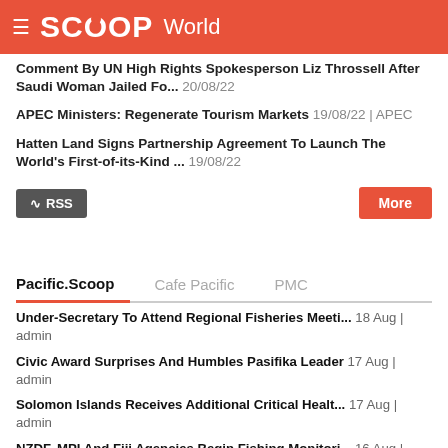SCOOP World
Comment By UN High Rights Spokesperson Liz Throssell After Saudi Woman Jailed Fo… 20/08/22
APEC Ministers: Regenerate Tourism Markets 19/08/22 | APEC
Hatten Land Signs Partnership Agreement To Launch The World's First-of-its-Kind … 19/08/22
Pacific.Scoop | Cafe Pacific | PMC
Under-Secretary To Attend Regional Fisheries Meeti… 18 Aug | admin
Civic Award Surprises And Humbles Pasifika Leader 17 Aug | admin
Solomon Islands Receives Additional Critical Healt… 17 Aug | admin
NZDF, MPI And Fiji Agencies Begin Fishing Monitori… 16 Aug | admin
Consumers Urged Not To Eat Illegal Mussels 16 Aug | admin
EU Delegation Inaugurates A New Rural Road Rehab P… 15 Aug | admin
Gao-Bugotu Constituency To Launch CDF Funded Proje… 15 Aug | admin